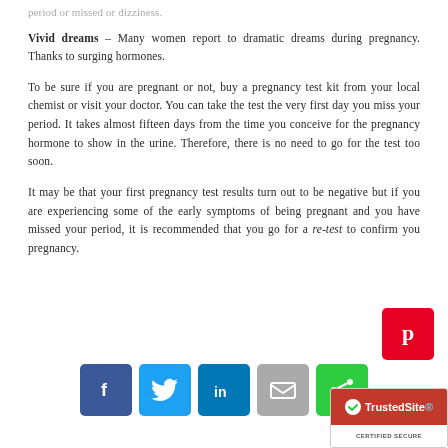period or missed or dizziness.
Vivid dreams – Many women report to dramatic dreams during pregnancy. Thanks to surging hormones.
To be sure if you are pregnant or not, buy a pregnancy test kit from your local chemist or visit your doctor. You can take the test the very first day you miss your period. It takes almost fifteen days from the time you conceive for the pregnancy hormone to show in the urine. Therefore, there is no need to go for the test too soon.
It may be that your first pregnancy test results turn out to be negative but if you are experiencing some of the early symptoms of being pregnant and you have missed your period, it is recommended that you go for a re-test to confirm you pregnancy.
[Figure (infographic): Social sharing buttons: Facebook (blue), Twitter (light blue), LinkedIn (dark blue), Email (grey), Share (green), Pinterest (red), and TrustedSite certified secure badge]